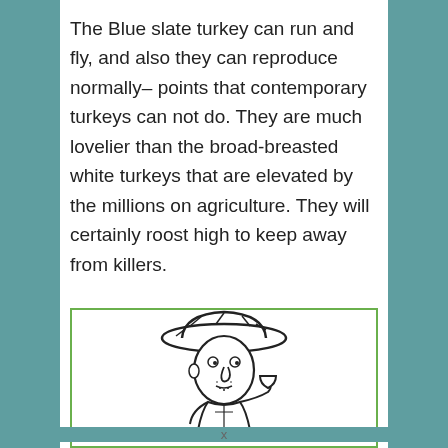The Blue slate turkey can run and fly, and also they can reproduce normally– points that contemporary turkeys can not do. They are much lovelier than the broad-breasted white turkeys that are elevated by the millions on agriculture. They will certainly roost high to keep away from killers.
[Figure (illustration): Black and white line drawing of a farmer or countryman wearing a wide-brimmed hat, holding a small bowl or cup, with a stylized cartoon face and simple clothing.]
x